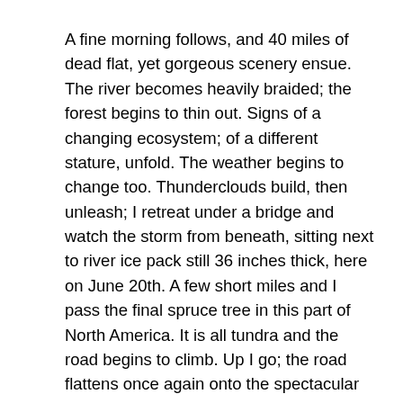A fine morning follows, and 40 miles of dead flat, yet gorgeous scenery ensue. The river becomes heavily braided; the forest begins to thin out. Signs of a changing ecosystem; of a different stature, unfold. The weather begins to change too. Thunderclouds build, then unleash; I retreat under a bridge and watch the storm from beneath, sitting next to river ice pack still 36 inches thick, here on June 20th. A few short miles and I pass the final spruce tree in this part of North America. It is all tundra and the road begins to climb. Up I go; the road flattens once again onto the spectacular Chandalar Shelf, a couple of hundred square miles of flat tundra in the heart of the Brooks, just below the continental divide of Atigun Pass, Alaska's Highest and most northerly road pass at 4800'. As I near Atigun's summit, the storm once again decides to unleash it's fury. High winds, sideways rain, and plummeting temperatures commence. I top out at